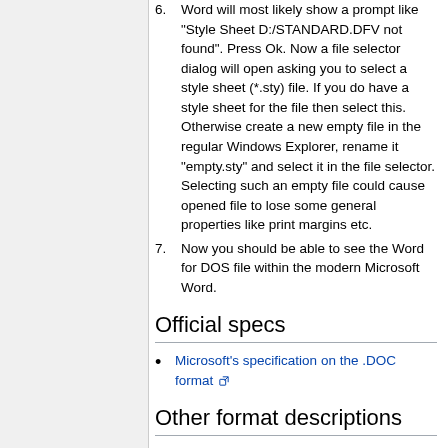6. Word will most likely show a prompt like "Style Sheet D:/STANDARD.DFV not found". Press Ok. Now a file selector dialog will open asking you to select a style sheet (*.sty) file. If you do have a style sheet for the file then select this. Otherwise create a new empty file in the regular Windows Explorer, rename it "empty.sty" and select it in the file selector. Selecting such an empty file could cause opened file to lose some general properties like print margins etc.
7. Now you should be able to see the Word for DOS file within the modern Microsoft Word.
Official specs
Microsoft's specification on the .DOC format
Other format descriptions
Word 5.0 (for DOS) file format, with notes